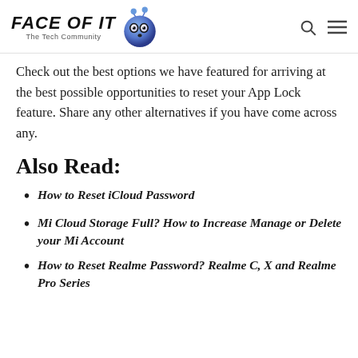FACE OF IT — The Tech Community
Check out the best options we have featured for arriving at the best possible opportunities to reset your App Lock feature. Share any other alternatives if you have come across any.
Also Read:
How to Reset iCloud Password
Mi Cloud Storage Full? How to Increase Manage or Delete your Mi Account
How to Reset Realme Password? Realme C, X and Realme Pro Series